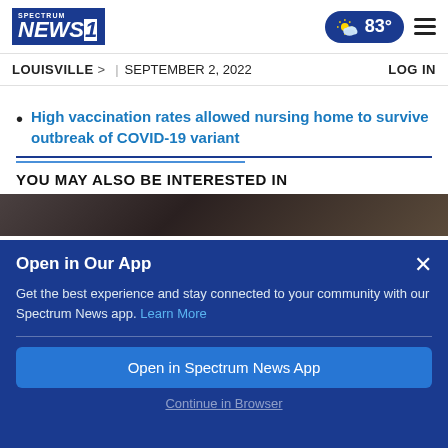Spectrum News 1 | 83° | Menu
LOUISVILLE > | SEPTEMBER 2, 2022 | LOG IN
High vaccination rates allowed nursing home to survive outbreak of COVID-19 variant
YOU MAY ALSO BE INTERESTED IN
[Figure (screenshot): Dark image strip showing a partial photo thumbnail]
Open in Our App
Get the best experience and stay connected to your community with our Spectrum News app. Learn More
Open in Spectrum News App
Continue in Browser